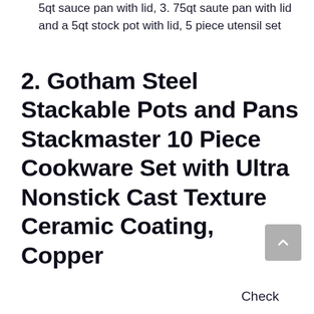5qt sauce pan with lid, 3.75qt saute pan with lid and a 5qt stock pot with lid, 5 piece utensil set
2. Gotham Steel Stackable Pots and Pans Stackmaster 10 Piece Cookware Set with Ultra Nonstick Cast Texture Ceramic Coating, Copper
Check